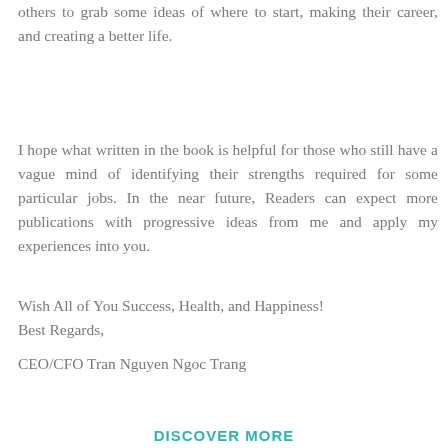others to grab some ideas of where to start, making their career, and creating a better life.
I hope what written in the book is helpful for those who still have a vague mind of identifying their strengths required for some particular jobs. In the near future, Readers can expect more publications with progressive ideas from me and apply my experiences into you.
Wish All of You Success, Health, and Happiness!
Best Regards,
CEO/CFO Tran Nguyen Ngoc Trang
DISCOVER MORE